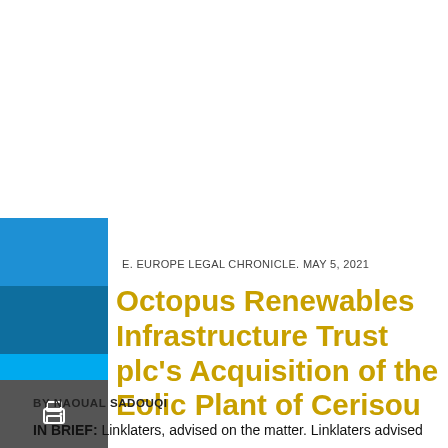[Figure (other): Left sidebar with colored blocks (blue shades, gray, dark gray) and social share icons including envelope and print icons]
E. EUROPE LEGAL CHRONICLE. MAY 5, 2021
Octopus Renewables Infrastructure Trust plc's Acquisition of the Eolic Plant of Cerisou
BY NAOUAL SADOUQI
IN BRIEF: Linklaters, advised on the matter. Linklaters advised